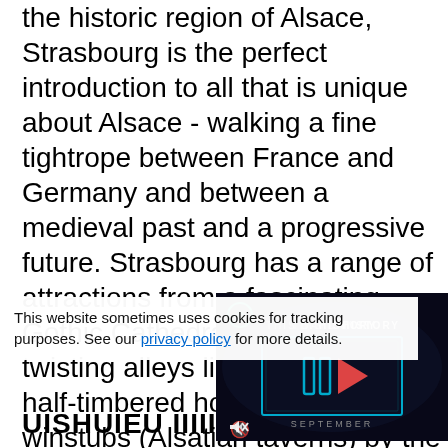the historic region of Alsace, Strasbourg is the perfect introduction to all that is unique about Alsace - walking a fine tightrope between France and Germany and between a medieval past and a progressive future. Strasbourg has a range of attractions from a fascinating Gothic Cathedral to the old town's twisting alleys lined with crooked half-timbered houses and cozy winstubs (Alsatian taverns) by the canals. Strasbourg is famous for its Christmas market and gingerbread and its glittering EU Qua...
[Figure (screenshot): A dark video player overlay showing 'THIS DAY IN HISTORY' text with play button icon and 'SEPTEMBER' label, with a mute icon in the lower left corner.]
This website sometimes uses cookies for tracking purposes. See our privacy policy for more details.
UISHUIEU IIIIIIIIIIII...